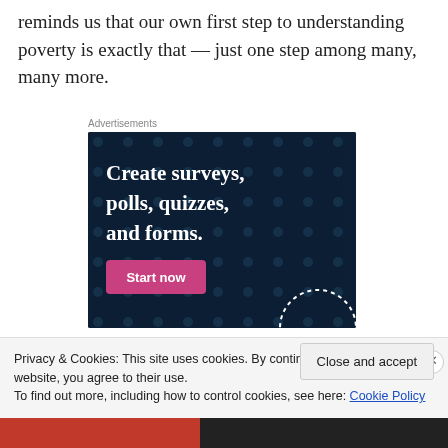reminds us that our own first step to understanding poverty is exactly that — just one step among many, many more.
[Figure (other): Advertisement banner with dark navy background and polka dot pattern. Text reads 'Create surveys, polls, quizzes, and forms.' with a pink 'Start now' button.]
Privacy & Cookies: This site uses cookies. By continuing to use this website, you agree to their use. To find out more, including how to control cookies, see here: Cookie Policy